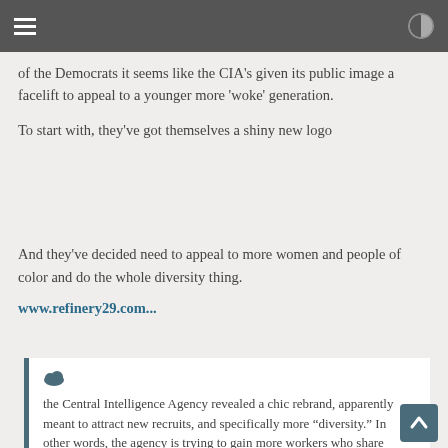of the Democrats it seems like the CIA's given its public image a facelift to appeal to a younger more 'woke' generation.
To start with, they've got themselves a shiny new logo
And they've decided need to appeal to more women and people of color and do the whole diversity thing.
www.refinery29.com...
the Central Intelligence Agency revealed a chic rebrand, apparently meant to attract new recruits, and specifically more “diversity.” In other words, the agency is trying to gain more workers who share identities with people whose heritage and ancestry can be traced back to people and